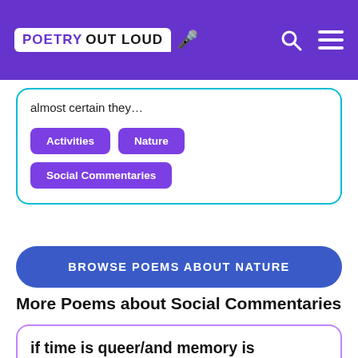POETRY OUT LOUD
almost certain they…
Activities
Nature
Social Commentaries
BROWSE POEMS ABOUT NATURE
More Poems about Social Commentaries
if time is queer/and memory is trans/and my hands hurt in the cold/then